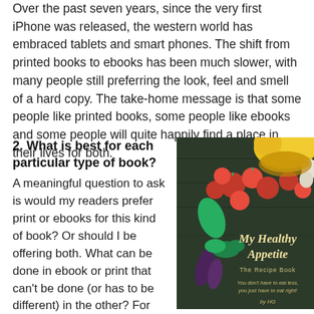Over the past seven years, since the very first iPhone was released, the western world has embraced tablets and smart phones. The shift from printed books to ebooks has been much slower, with many people still preferring the look, feel and smell of a hard copy. The take-home message is that some people like printed books, some people like ebooks and some people will quite happily find a place in their lives for both.
2. What is best for each particular type of book?
A meaningful question to ask is would my readers prefer print or ebooks for this kind of book? Or should I be offering both. What can be done in ebook or print that can't be done (or has to be different) in the other? For example, children's books are more well received in print than as ebooks. There are obvious reasons
[Figure (photo): Book cover of 'My Healthy Appetite - The Recipe Book' with colorful vegetables and tomatoes displayed on a dark wooden surface. Text reads: 'You don't have to eat less, you just have to eat right! by HG']